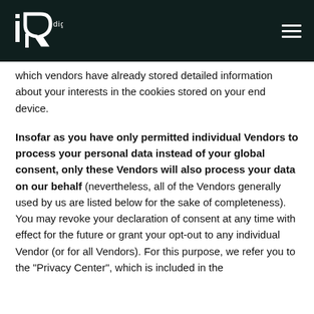iq digital
which vendors have already stored detailed information about your interests in the cookies stored on your end device.
Insofar as you have only permitted individual Vendors to process your personal data instead of your global consent, only these Vendors will also process your data on our behalf (nevertheless, all of the Vendors generally used by us are listed below for the sake of completeness).
You may revoke your declaration of consent at any time with effect for the future or grant your opt-out to any individual Vendor (or for all Vendors). For this purpose, we refer you to the "Privacy Center", which is included in the